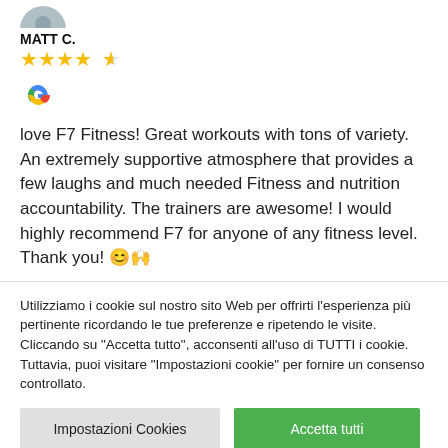[Figure (photo): Partial avatar/profile photo cropped at top]
MATT C.
[Figure (infographic): 4.5 star rating shown as filled and half-filled stars]
[Figure (logo): Google logo G icon]
love F7 Fitness! Great workouts with tons of variety. An extremely supportive atmosphere that provides a few laughs and much needed Fitness and nutrition accountability. The trainers are awesome! I would highly recommend F7 for anyone of any fitness level. Thank you! 😊🙌
Utilizziamo i cookie sul nostro sito Web per offrirti l'esperienza più pertinente ricordando le tue preferenze e ripetendo le visite. Cliccando su "Accetta tutto", acconsenti all'uso di TUTTI i cookie. Tuttavia, puoi visitare "Impostazioni cookie" per fornire un consenso controllato.
Impostazioni Cookies
Accetta tutti